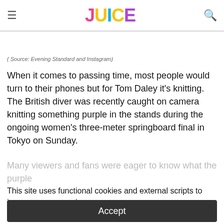JUICE
( Source: Evening Standard and Instagram)
When it comes to passing time, most people would turn to their phones but for Tom Daley it's knitting. The British diver was recently caught on camera knitting something purple in the stands during the ongoing women's three-meter springboard final in Tokyo on Sunday.
Many viewers and fans were eager to know what the purple
This site uses functional cookies and external scripts to improve your experience.
Accept